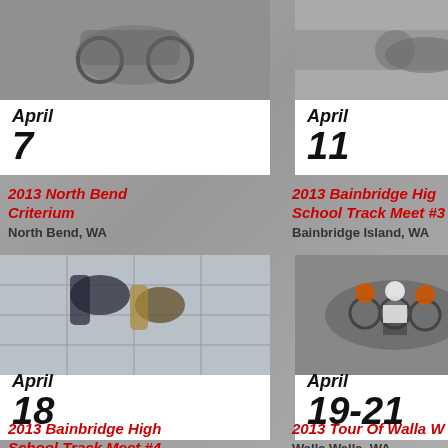[Figure (photo): Cycling race photo for April 7 event card]
April 7
2013 North Bend Criterium
North Bend, WA
[Figure (photo): Cycling race photo for April 11 event card]
April 11
2013 Bainbridge High School Track Meet #3
Bainbridge Island, WA
[Figure (photo): Track athletes running/jumping photo for April 18 event card]
April 18
2013 Bainbridge High School Track Meet #4
Bainbridge Island, WA
[Figure (photo): Cycling criterium race photo for April 19-21 event card]
April 19-21
2013 Tour Of Walla W...
Walla Walla, WA